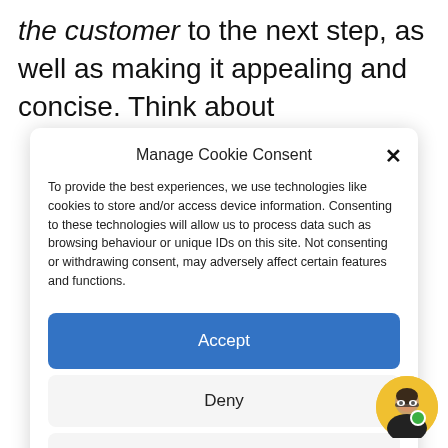the customer to the next step, as well as making it appealing and concise. Think about
Manage Cookie Consent
To provide the best experiences, we use technologies like cookies to store and/or access device information. Consenting to these technologies will allow us to process data such as browsing behaviour or unique IDs on this site. Not consenting or withdrawing consent, may adversely affect certain features and functions.
Accept
Deny
View preferences
Cookie Policy  Privacy Statement